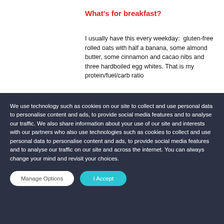What's for breakfast?
I usually have this every weekday:  gluten-free rolled oats with half a banana, some almond butter, some cinnamon and cacao nibs and three hardboiled egg whites. That is my protein/fuel/carb ratio
We use technology such as cookies on our site to collect and use personal data to personalise content and ads, to provide social media features and to analyse our traffic. We also share information about your use of our site and interests with our partners who also use technologies such as cookies to collect and use personal data to personalise content and ads, to provide social media features and to analyse our traffic on our site and across the internet. You can always change your mind and revisit your choices.
Manage Options
I Accept